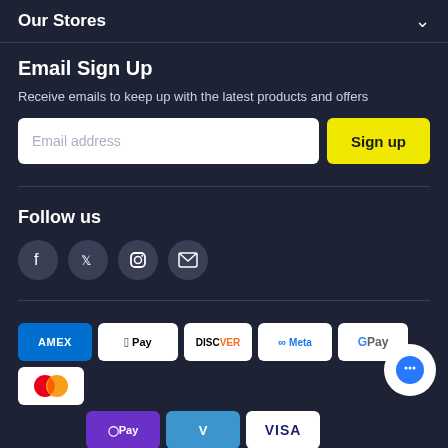Our Stores
Email Sign Up
Receive emails to keep up with the latest products and offers
Email address
Sign up
Follow us
[Figure (infographic): Social media icons: Facebook, Twitter, Instagram, Email]
[Figure (infographic): Payment method badges: AMEX, Apple Pay, Discover, Meta, G Pay, Mastercard, O Pay, Venmo, VISA]